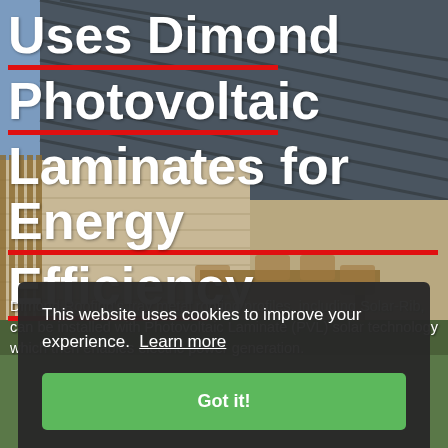[Figure (photo): Background photo of a modern house with dark metal tray roofing, stone exterior walls, outdoor patio with wooden furniture, and green lawn. Sky is partly cloudy.]
Uses Dimond Photovoltaic Laminates for Energy Efficiency
Dimond Roofing's tray metal roofing profiles, including Solar-Rib, can be installed with Photovoltaic Laminate (PVL) solar technology which then enables electric power generation.
This website uses cookies to improve your experience. Learn more
Got it!